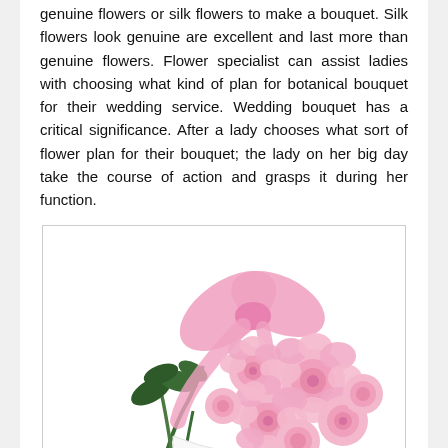genuine flowers or silk flowers to make a bouquet. Silk flowers look genuine are excellent and last more than genuine flowers. Flower specialist can assist ladies with choosing what kind of plan for botanical bouquet for their wedding service. Wedding bouquet has a critical significance. After a lady chooses what sort of flower plan for their bouquet; the lady on her big day take the course of action and grasps it during her function.
[Figure (photo): A bouquet of pink roses tied with a pink ribbon bow, photographed on a white background.]
After the wedding service is finished the lady throws the bouquet behind her for the following fortunate individual to get the bouquet. Bouquet represents they will be next in